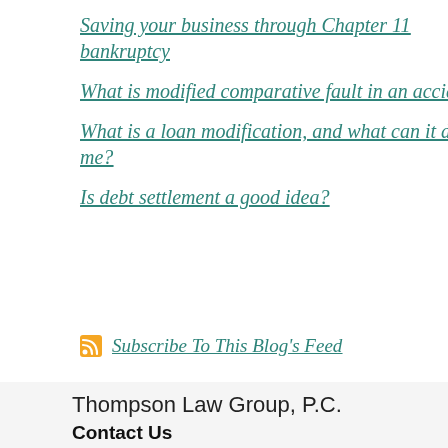Saving your business through Chapter 11 bankruptcy
What is modified comparative fault in an accident?
What is a loan modification, and what can it do for me?
Is debt settlement a good idea?
Subscribe To This Blog's Feed
Thompson Law Group, P.C.
Contact Us
While this website provides general information, it does not constitute legal advice. The best way to get guidance on your